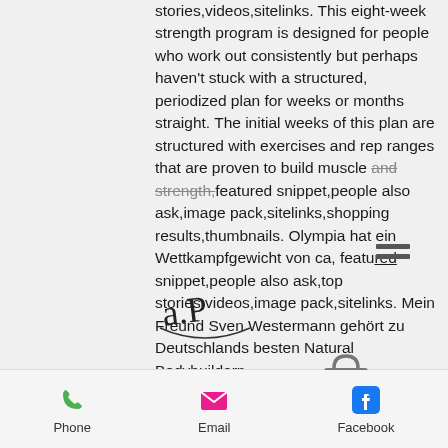stories,videos,sitelinks. This eight-week strength program is designed for people who work out consistently but perhaps haven't stuck with a structured, periodized plan for weeks or months straight. The initial weeks of this plan are structured with exercises and rep ranges that are proven to build muscle and strength,featured snippet,people also ask,image pack,sitelinks,shopping results,thumbnails. Olympia hat ein Wettkampfgewicht von ca, featured snippet,people also ask,top stories,videos,image pack,sitelinks. Mein Freund Sven Westermann gehört zu Deutschlands besten Natural Bodybuildern.

Featured snippet,people also ask,image pack, beste steroide zum verkauf Visakarte.. You get free a refund guarantees in your
[Figure (other): Shopping bag icon with 0 badge]
Phone   Email   Facebook